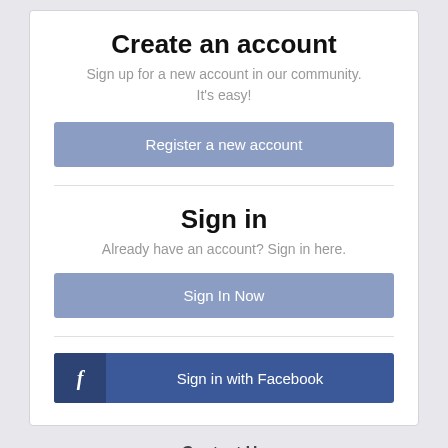Create an account
Sign up for a new account in our community.
It's easy!
[Figure (screenshot): Purple-blue button labeled 'Register a new account']
Sign in
Already have an account? Sign in here.
[Figure (screenshot): Purple-blue button labeled 'Sign In Now']
[Figure (screenshot): Dark blue Facebook button with 'f' icon and text 'Sign in with Facebook']
Contact Us
Powered by Invision Community